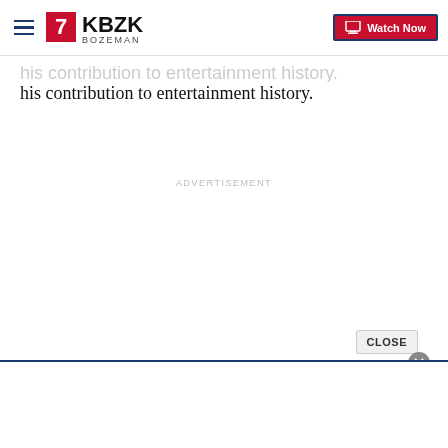KBZK Bozeman | Watch Now
his contribution to entertainment history.
ADVERTISEMENT
CLOSE